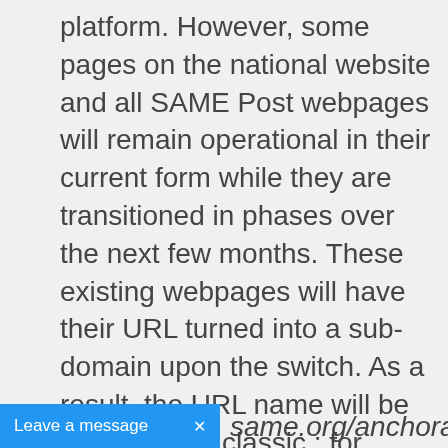platform. However, some pages on the national website and all SAME Post webpages will remain operational in their current form while they are transitioned in phases over the next few months. These existing webpages will have their URL turned into a sub-domain upon the switch. As a result, the URL name will be preceded by classic.; for instance, https://www.same.org/anchorage will become https://classic.same.org/anchorage